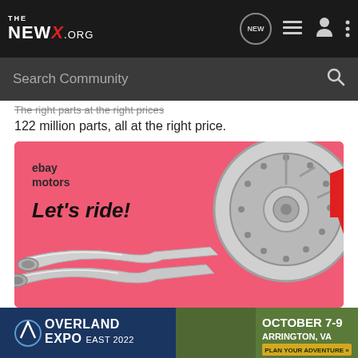THE NEWX.ORG — Navigation bar with search
The right parts at the right prices
122 million parts, all at the right price.
[Figure (advertisement): eBay Motors advertisement with pink background, logo, 'Let's ride!' tagline, brake rotor and exhaust pipe imagery]
[Figure (advertisement): Overland Expo East 2022 banner ad: October 7-9, Arrington, VA. Plan Your Adventure button.]